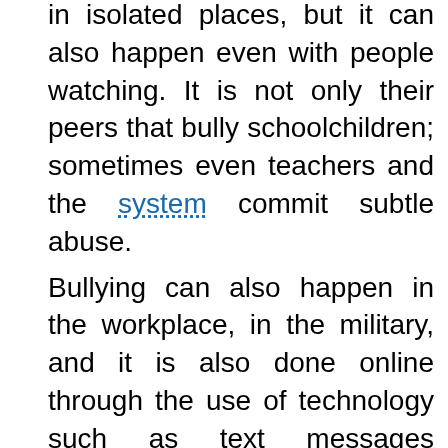in isolated places, but it can also happen even with people watching. It is not only their peers that bully schoolchildren; sometimes even teachers and the system commit subtle abuse.
Bullying can also happen in the workplace, in the military, and it is also done online through the use of technology such as text messages through cellular phones and emails, or instant messages through the Internet.
This is called cyber-bullying, which is a type of bullying that is hard to detect, and the perpetrator is hard to distinguish because he can easily pose as someone else. It includes sending hate mails, threats, sexual remarks, and posting false things about someone in order to embarrass him.
While traditional bullying is done face to face, that